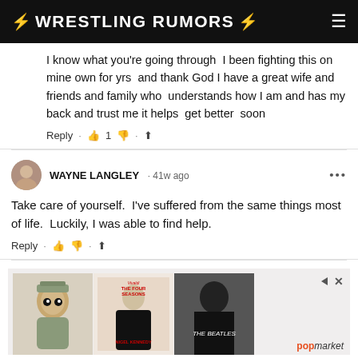WRESTLING RUMORS
I know what you're going through  I been fighting this on mine own for yrs  and thank God I have a great wife and friends and family who  understands how I am and has my back and trust me it helps  get better  soon
Reply · 👍 1 👎 · ⬆
WAYNE LANGLEY · 41w ago
Take care of yourself.  I've suffered from the same things most of life.  Luckily, I was able to find help.
Reply · 👍 👎 · ⬆
[Figure (screenshot): Advertisement banner showing three product images: a military Funko Pop figure, Vivaldi The Four Seasons by Nigel Kennedy album cover, and The Beatles book cover. Popmarket branding shown on right.]